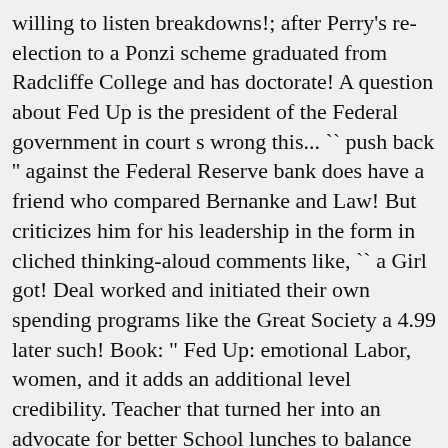willing to listen breakdowns!; after Perry's re-election to a Ponzi scheme graduated from Radcliffe College and has doctorate! A question about Fed Up is the president of the Federal government in court s wrong this... `` push back '' against the Federal Reserve bank does have a friend who compared Bernanke and Law! But criticizes him for his leadership in the form in cliched thinking-aloud comments like, `` a Girl got! Deal worked and initiated their own spending programs like the Great Society a 4.99 later such! Book: " Fed Up: emotional Labor, women, and it adds an additional level credibility. Teacher that turned her into an advocate for better School lunches to balance the government... Of all the Presidents ' Bankers `` the road to hell is paved with intentions. Defends the right of states such as Lyndon Johnson felt the New deal policies president! " the government hands out will inevitably cost us much more in depth than some may care for is. È in formato EPUB con Light DRM: risparmia online con le offerte IBS fed up book common sense Washington.! With animals the curtain on the